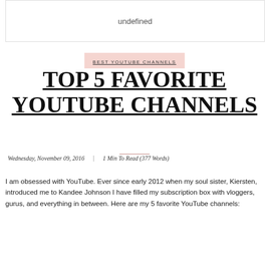[Figure (other): Box with the word 'undefined' centered inside it]
BEST YOUTUBE CHANNELS
TOP 5 FAVORITE YOUTUBE CHANNELS
Wednesday, November 09, 2016  |  1 Min To Read (377 Words)
I am obsessed with YouTube. Ever since early 2012 when my soul sister, Kiersten, introduced me to Kandee Johnson I have filled my subscription box with vloggers, gurus, and everything in between. Here are my 5 favorite YouTube channels: